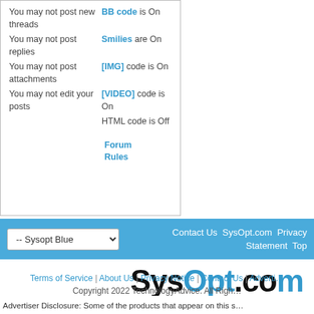|  |  |
| --- | --- |
| You may not post new threads | BB code is On |
| You may not post replies | Smilies are On |
| You may not post attachments | [IMG] code is On |
| You may not edit your posts | [VIDEO] code is On |
|  | HTML code is Off |
|  | Forum Rules |
-- Sysopt Blue  |  Contact Us  SysOpt.com  Privacy Statement  Top
[Figure (logo): SysOpt.com logo in bold black and blue text]
Terms of Service | About Us | Privacy Notice | Contact Us | Adverti...
Copyright 2022 TechnologyAdvice. All Righ...
Advertiser Disclosure: Some of the products that appear on this s... TechnologyAdvice receives compensation. This compensation ma... appear on this site including, for example, the order in which the...